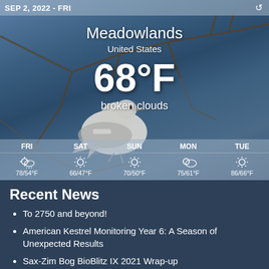SEP 2, 2022 - FRI
[Figure (photo): Weather widget showing Meadowlands, United States at 68°F broken clouds with a bird (northern mockingbird or similar) perched on branches against a blue-grey winter background. Forecast bar shows FRI 78/54°F, SAT 66/47°F, SUN 70/50°F, MON 75/61°F, TUE 86/66°F.]
Recent News
To 2750 and beyond!
American Kestrel Monitoring Year 6: A Season of Unexpected Results
Sax-Zim Bog BioBlitz IX 2021 Wrap-up
Sax-Zim Bog: A Magic Mix
BBBBB b the 2021 W...